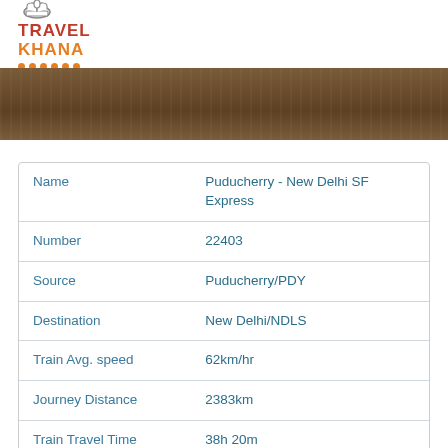[Figure (logo): Travel Khana logo with chef hat icon, red 'TRAVEL' text, orange 'KHANA' text, and orange dots underline]
[Figure (photo): Dark brown textured banner/header image spanning full width]
| Name | Puducherry - New Delhi SF Express |
| Number | 22403 |
| Source | Puducherry/PDY |
| Destination | New Delhi/NDLS |
| Train Avg. speed | 62km/hr |
| Journey Distance | 2383km |
| Train Travel Time | 38h 20m |
| Type of Train | SuperFast Rake |